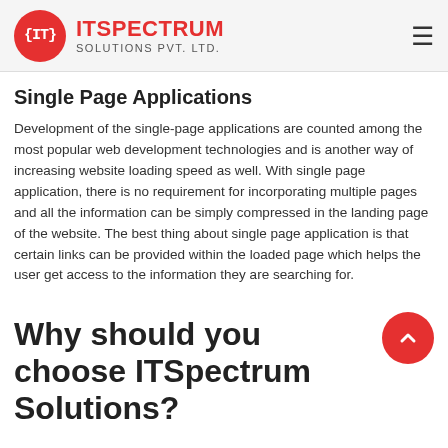ITSPECTRUM SOLUTIONS PVT. LTD.
Single Page Applications
Development of the single-page applications are counted among the most popular web development technologies and is another way of increasing website loading speed as well. With single page application, there is no requirement for incorporating multiple pages and all the information can be simply compressed in the landing page of the website. The best thing about single page application is that certain links can be provided within the loaded page which helps the user get access to the information they are searching for.
Why should you choose ITSpectrum Solutions?